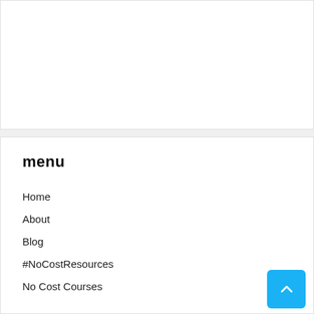menu
Home
About
Blog
#NoCostResources
No Cost Courses